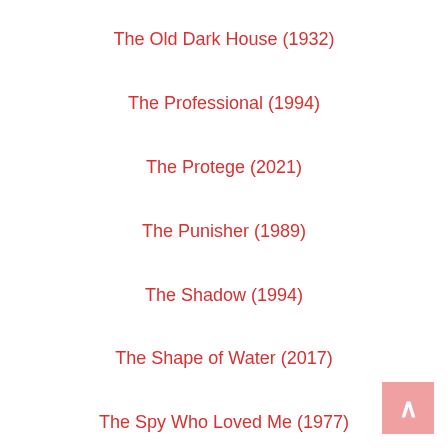The Old Dark House (1932)
The Professional (1994)
The Protege (2021)
The Punisher (1989)
The Shadow (1994)
The Shape of Water (2017)
The Spy Who Loved Me (1977)
The Suicide Squad (2021)
The Thief of Bagdad (1924)
The Thing (1982)
The Thing (2011)
The Uninvited (1944)
The War of the Gargantuas (1966)
The Warriors (1979)
The Wolfman (2010)